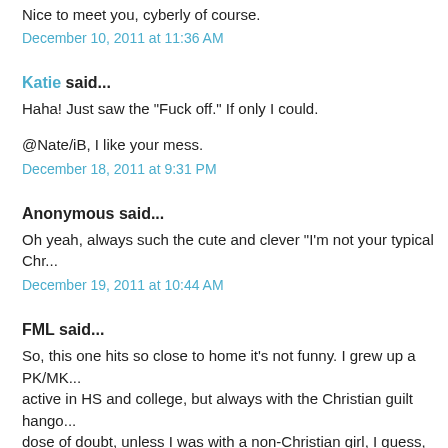Nice to meet you, cyberly of course.
December 10, 2011 at 11:36 AM
Katie said...
Haha! Just saw the "Fuck off." If only I could.
@Nate/iB, I like your mess.
December 18, 2011 at 9:31 PM
Anonymous said...
Oh yeah, always such the cute and clever "I'm not your typical Chr...
December 19, 2011 at 10:44 AM
FML said...
So, this one hits so close to home it's not funny. I grew up a PK/MK... active in HS and college, but always with the Christian guilt hango... dose of doubt, unless I was with a non-Christian girl, I guess, then... deal. But of course none of them were wife material, because mar... they're Christ-centered, don't you know. I dated two different girls a... and was accused of taking advantage of them after neither relatio...